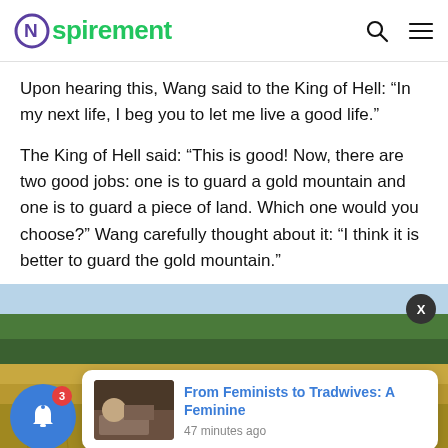Nspirement
Upon hearing this, Wang said to the King of Hell: “In my next life, I beg you to let me live a good life.”
The King of Hell said: “This is good! Now, there are two good jobs: one is to guard a gold mountain and one is to guard a piece of land. Which one would you choose?” Wang carefully thought about it: “I think it is better to guard the gold mountain.”
[Figure (photo): Outdoor field scene with golden wheat in foreground and trees in background, with a notification popup overlay showing 'From Feminists to Tradwives: A Feminine' posted 47 minutes ago, a blue bell notification button with badge showing 3, and an X close button.]